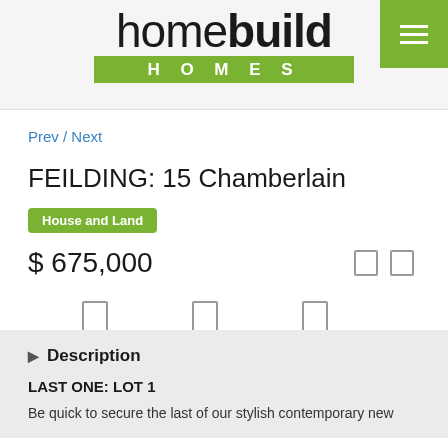[Figure (logo): Homebuild Homes logo with green bar showing HOMES text]
Prev / Next
FEILDING: 15 Chamberlain House and Land
$ 675,000
2 Beds  1.25 Baths  115 Size
Description
LAST ONE: LOT 1
Be quick to secure the last of our stylish contemporary new